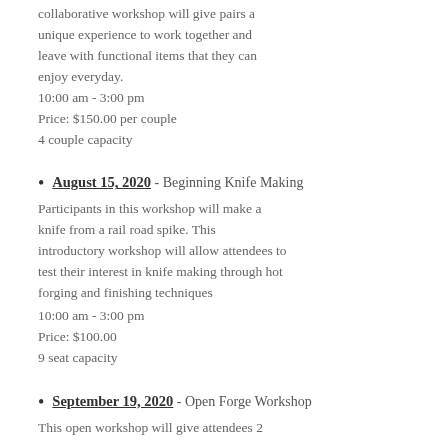collaborative workshop will give pairs a unique experience to work together and leave with functional items that they can enjoy everyday.
10:00 am - 3:00 pm
Price: $150.00 per couple
4 couple capacity
August 15, 2020 - Beginning Knife Making
Participants in this workshop will make a knife from a rail road spike. This introductory workshop will allow attendees to test their interest in knife making through hot forging and finishing techniques
10:00 am - 3:00 pm
Price: $100.00
9 seat capacity
September 19, 2020 - Open Forge Workshop
This open workshop will give attendees 2